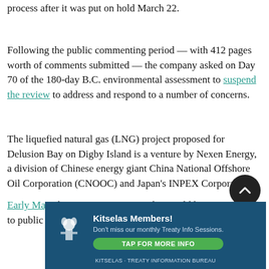process after it was put on hold March 22.
Following the public commenting period — with 412 pages worth of comments submitted — the company asked on Day 70 of the 180-day B.C. environmental assessment to suspend the review to address and respond to a number of concerns.
The liquefied natural gas (LNG) project proposed for Delusion Bay on Digby Island is a venture by Nexen Energy, a division of Chinese energy giant China National Offshore Oil Corporation (CNOOC) and Japan's INPEX Corporation.
Early May, the company anticipated it would have responses to public comments and resume its review period
[Figure (other): Kitselas Members advertisement banner with logo. Text reads: 'Kitselas Members! Don't miss our monthly Treaty Info Sessions. TAP FOR MORE INFO']